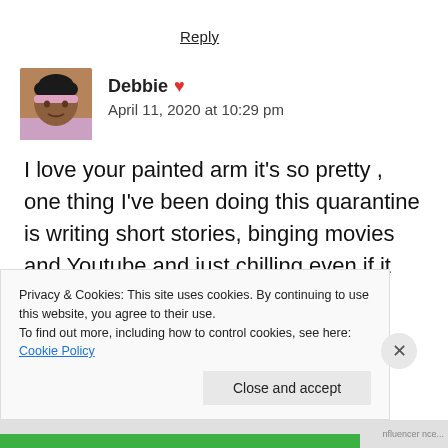Reply
Debbie ❤ April 11, 2020 at 10:29 pm
I love your painted arm it's so pretty , one thing I've been doing this quarantine is writing short stories, binging movies and Youtube and just chilling even if it can be a bit...
Privacy & Cookies: This site uses cookies. By continuing to use this website, you agree to their use.
To find out more, including how to control cookies, see here: Cookie Policy
Close and accept